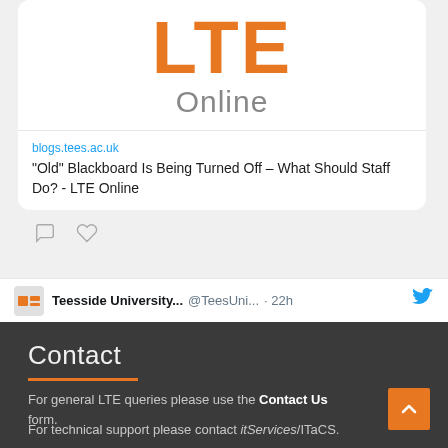[Figure (screenshot): Twitter/social media card showing LTE Online blog post. Card contains LTE logo in orange on white background with 'Online' subtitle in grey. Link preview shows blogs.tees.ac.uk URL and title '"Old" Blackboard Is Being Turned Off – What Should Staff Do? - LTE Online'. Below card are comment and like action icons. Footer bar shows Teesside University... @TeesUni... · 22h with Twitter bird icon.]
Contact
For general LTE queries please use the Contact Us form.
For technical support please contact itServices/ITaCS.